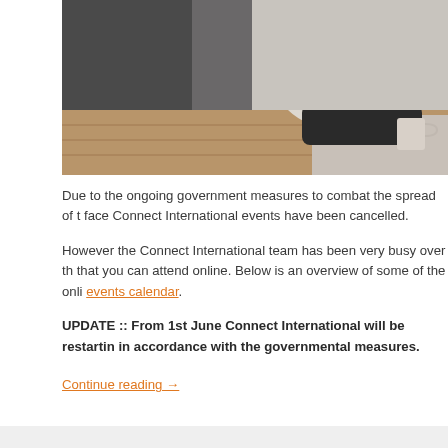[Figure (photo): Photo of a person sitting on the floor against a sofa, using a laptop, with a mug nearby on a wooden floor with a rug]
Due to the ongoing government measures to combat the spread of t... face Connect International events have been cancelled.
However the Connect International team has been very busy over the... that you can attend online. Below is an overview of some of the onli... events calendar.
UPDATE :: From 1st June Connect International will be restarting... in accordance with the governmental measures.
Continue reading →